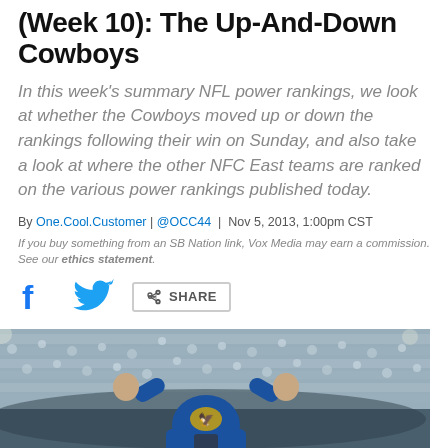(Week 10): The Up-And-Down Cowboys
In this week's summary NFL power rankings, we look at whether the Cowboys moved up or down the rankings following their win on Sunday, and also take a look at where the other NFC East teams are ranked on the various power rankings published today.
By One.Cool.Customer | @OCC44 | Nov 5, 2013, 1:00pm CST
If you buy something from an SB Nation link, Vox Media may earn a commission. See our ethics statement.
[Figure (photo): A person in a blue outfit and helmet with arms raised in celebration, photographed from behind against a blurred crowd in a football stadium.]